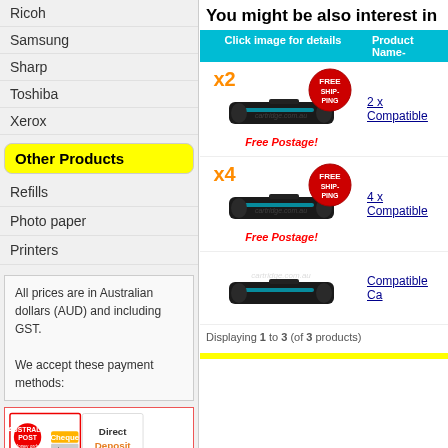Ricoh
Samsung
Sharp
Toshiba
Xerox
Other Products
Refills
Photo paper
Printers
All prices are in Australian dollars (AUD) and including GST.

We accept these payment methods:
[Figure (screenshot): Payment methods: Australia Post Money Order, Cheque, Direct Deposit]
You might be also interest in
| Click image for details | Product Name- |
| --- | --- |
| [image: x2 toner, Free Shipping] Free Postage! | 2 x Compatible |
| [image: x4 toner, Free Shipping] Free Postage! | 4 x Compatible |
| [image: toner] | Compatible Ca |
Displaying 1 to 3 (of 3 products)